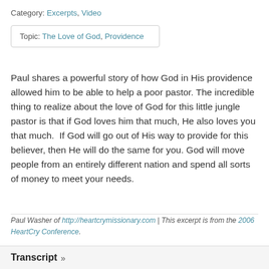Category: Excerpts, Video
Topic: The Love of God, Providence
Paul shares a powerful story of how God in His providence allowed him to be able to help a poor pastor. The incredible thing to realize about the love of God for this little jungle pastor is that if God loves him that much, He also loves you that much.  If God will go out of His way to provide for this believer, then He will do the same for you. God will move people from an entirely different nation and spend all sorts of money to meet your needs.
Paul Washer of http://heartcrymissionary.com | This excerpt is from the 2006 HeartCry Conference.
Transcript